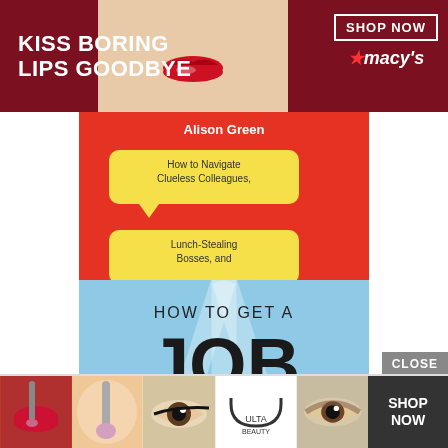[Figure (advertisement): Macy's banner ad with dark red background, woman's face with red lips, text 'KISS BORING LIPS GOODBYE' and 'SHOP NOW' button with Macy's star logo]
[Figure (illustration): Book cover: 'Alison Green - How to Navigate Clueless Colleagues, Lunch-Stealing Bosses, and the Rest of Your Life at Work' - red background with speech bubbles and hand illustration]
[Figure (illustration): Book cover: 'HOW TO GET A JOB - Secrets of a Hiring Manager' by Alison Green - light blue background with cartoon woman and speech bubble]
[Figure (advertisement): Ulta Beauty banner ad with makeup photos, Ulta logo, and SHOP NOW button. Close button above right.]